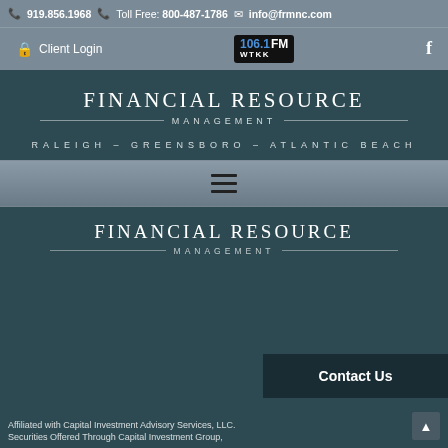919.856.1968  Toll Free: 800-487-1786  info@frmnc.com
Client Login  106.1 FM WTKK  Facebook
Financial Resource Management
RALEIGH – GREENSBORO – ATLANTIC BEACH
[Figure (other): Hamburger menu icon (three horizontal lines)]
Financial Resource Management
Contact Us
Affiliated with Capital Investment Advisory Services, LLC. Securities Offered Through Capital Investment Group,